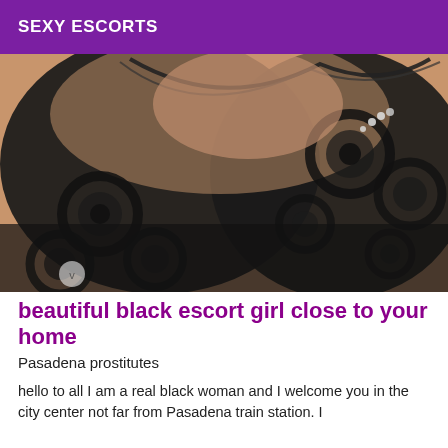SEXY ESCORTS
[Figure (photo): Close-up photo of a person wearing black lace lingerie]
beautiful black escort girl close to your home
Pasadena prostitutes
hello to all I am a real black woman and I welcome you in the city center not far from Pasadena train station. I